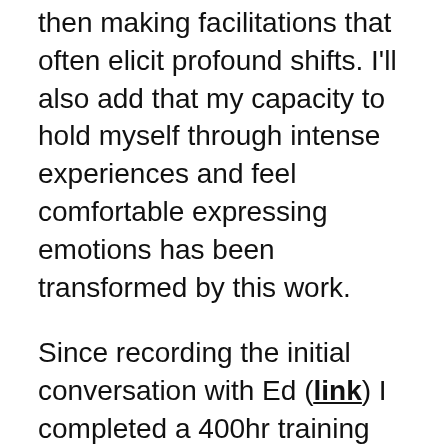then making facilitations that often elicit profound shifts. I'll also add that my capacity to hold myself through intense experiences and feel comfortable expressing emotions has been transformed by this work.
Since recording the initial conversation with Ed (link) I completed a 400hr training with him and the team here in Bali. But despite having literally hundreds of hours of conversations with him, I learnt so many new things myself from this conversation.
~~~~~~